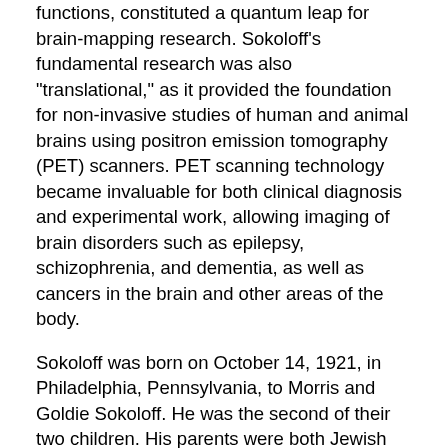functions, constituted a quantum leap for brain-mapping research. Sokoloff's fundamental research was also "translational," as it provided the foundation for non-invasive studies of human and animal brains using positron emission tomography (PET) scanners. PET scanning technology became invaluable for both clinical diagnosis and experimental work, allowing imaging of brain disorders such as epilepsy, schizophrenia, and dementia, as well as cancers in the brain and other areas of the body.
Sokoloff was born on October 14, 1921, in Philadelphia, Pennsylvania, to Morris and Goldie Sokoloff. He was the second of their two children. His parents were both Jewish immigrants, his father from Ukraine, and his mother from a village along the Polish-Russian border. Morris Sokoloff was a tailor, and his wife a homemaker; though neither had much formal schooling, they strongly believed in the value of education for their children.
Louis embraced learning from the start; he would later recall that his earliest memory of gifts was books, and he became a voracious reader. His brother Nathan, six years older, helped to foster an early interest in biology; Nathan's terrarium...